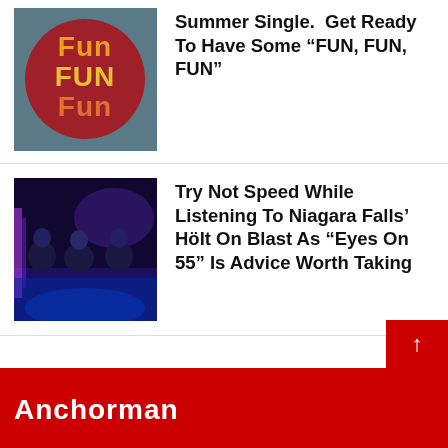[Figure (illustration): Fun Fun Fun colorful 3D text logo on red circle background]
Summer Single.  Get Ready To Have Some “FUN, FUN, FUN”
[Figure (photo): Band photo - group of young men sitting in blue-lit bar/club setting]
Try Not Speed While Listening To Niagara Falls’ Hölt On Blast As “Eyes On 55” Is Advice Worth Taking
[Figure (logo): Red footer bar with website logo text]